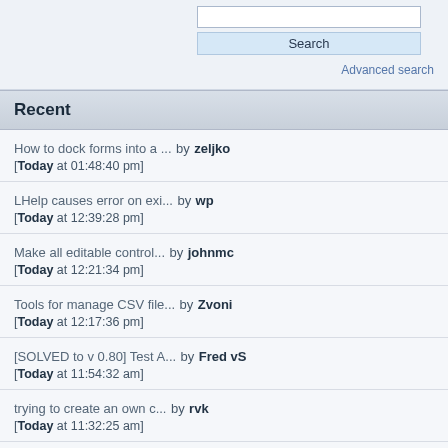Search | Advanced search
Recent
How to dock forms into a ... by zeljko [Today at 01:48:40 pm]
LHelp causes error on exi... by wp [Today at 12:39:28 pm]
Make all editable control... by johnmc [Today at 12:21:34 pm]
Tools for manage CSV file... by Zvoni [Today at 12:17:36 pm]
[SOLVED to v 0.80] Test A... by Fred vS [Today at 11:54:32 am]
trying to create an own c... by rvk [Today at 11:32:25 am]
How to get file size from... by rvk [Today at 11:19:56 am]